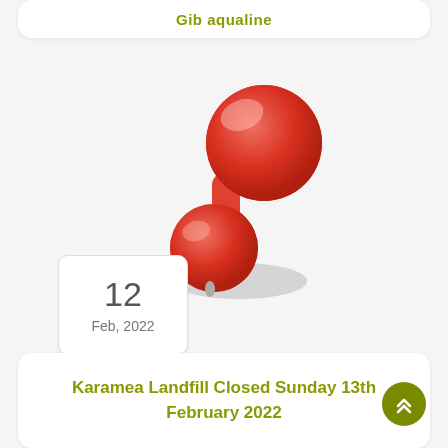Gib aqualine
[Figure (illustration): A red push-pin/thumbtack shown from above at an angle, casting a shadow. The pin is 3D rendered with a round red head and a short metal tip.]
12
Feb, 2022
Karamea Landfill Closed Sunday 13th February 2022